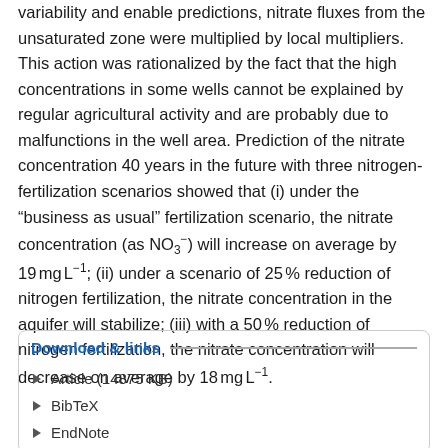variability and enable predictions, nitrate fluxes from the unsaturated zone were multiplied by local multipliers. This action was rationalized by the fact that the high concentrations in some wells cannot be explained by regular agricultural activity and are probably due to malfunctions in the well area. Prediction of the nitrate concentration 40 years in the future with three nitrogen-fertilization scenarios showed that (i) under the “business as usual” fertilization scenario, the nitrate concentration (as NO3⁻) will increase on average by 19 mg L⁻¹; (ii) under a scenario of 25 % reduction of nitrogen fertilization, the nitrate concentration in the aquifer will stabilize; (iii) with a 50 % reduction of nitrogen fertilization, the nitrate concentration will decrease on average by 18 mg L⁻¹.
Download & links
Article (14875 KB)
BibTeX
EndNote